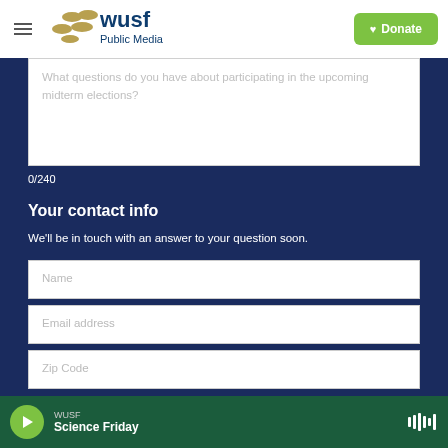[Figure (logo): WUSF Public Media logo with hamburger menu and Donate button]
What questions do you have about participating in the upcoming midterm elections?
0/240
Your contact info
We'll be in touch with an answer to your question soon.
Name
Email address
Zip Code
Sign me up for WUSF's email newsletter!
WUSF Science Friday